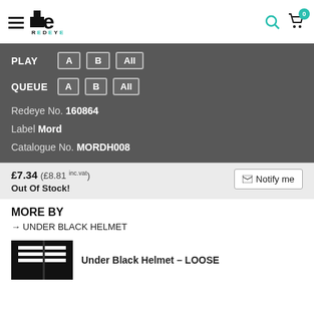[Figure (logo): Redeye logo with hamburger menu icon on the left, and search/cart icons on the right]
PLAY  A  B  All
QUEUE  A  B  All
Redeye No. 160864
Label Mord
Catalogue No. MORDH008
£7.34 (£8.81 inc.vat)
Out Of Stock!
MORE BY
→ UNDER BLACK HELMET
Under Black Helmet – LOOSE